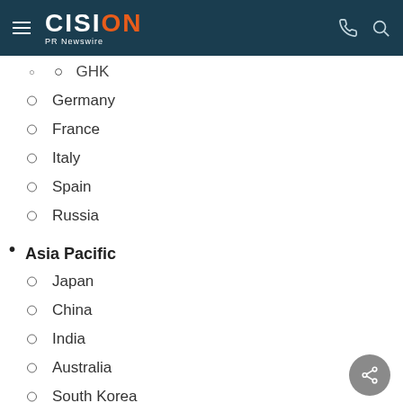CISION PR Newswire
GHK (cropped, partial)
Germany
France
Italy
Spain
Russia
Asia Pacific
Japan
China
India
Australia
South Korea
Singapore